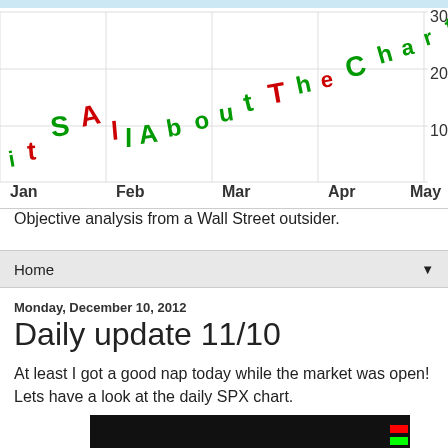[Figure (logo): ItSAllAboutTheCharts blog logo with colorful letters on a chart background with axis labels Jan, Feb, Mar, Apr, May and values 10, 20, 30]
Objective analysis from a Wall Street outsider.
Home
Monday, December 10, 2012
Daily update 11/10
At least I got a good nap today while the market was open! Lets have a look at the daily SPX chart.
[Figure (screenshot): SPX daily chart with multiple colored moving average lines on dark background]